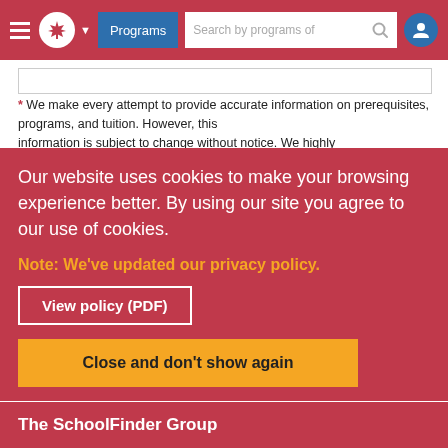Programs | Search by programs of
* We make every attempt to provide accurate information on prerequisites, programs, and tuition. However, this information is subject to change without notice. We highly recommend you contact the institution for the most relevant information.
Our website uses cookies to make your browsing experience better. By using our site you agree to our use of cookies.
Note: We've updated our privacy policy.
View policy (PDF)
Close and don't show again
The SchoolFinder Group